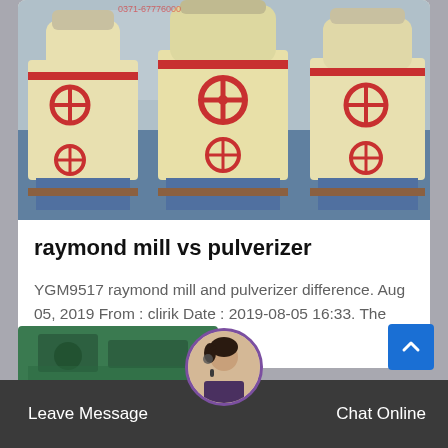[Figure (photo): Photograph of multiple YGM raymond mill / pulverizer machines in cream/yellow color with red valve wheels and blue metal base frames, in an industrial yard]
raymond mill vs pulverizer
YGM9517 raymond mill and pulverizer difference. Aug 05, 2019 From : clirik Date : 2019-08-05 16:33. The most important…
[Figure (photo): Partial view of another green industrial machine at bottom of screen]
Leave Message   Chat Online